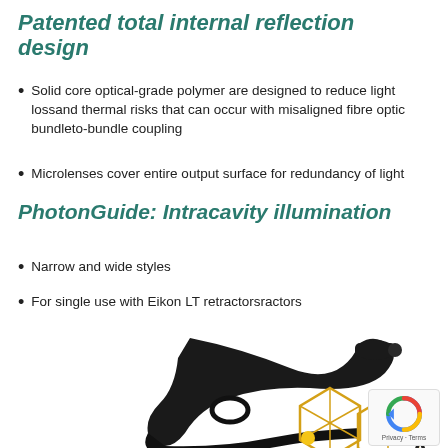Patented total internal reflection design
Solid core optical-grade polymer are designed to reduce light lossand thermal risks that can occur with misaligned fibre optic bundleto-bundle coupling
Microlenses cover entire output surface for redundancy of light
PhotonGuide: Intracavity illumination
Narrow and wide styles
For single use with Eikon LT retractorsractors
[Figure (photo): Black medical retractor device (Eikon LT) shown with a partial molecular structure diagram overlay and a yellow dot indicator at the bottom of the page. A reCAPTCHA privacy badge is visible in the lower right corner.]